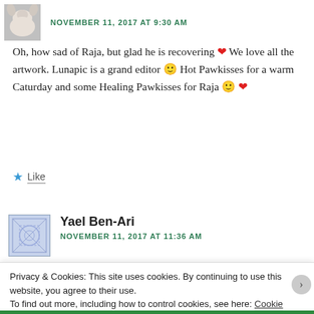NOVEMBER 11, 2017 AT 9:30 AM
Oh, how sad of Raja, but glad he is recovering ❤ We love all the artwork. Lunapic is a grand editor 🙂 Hot Pawkisses for a warm Caturday and some Healing Pawkisses for Raja 🙂 ❤
★ Like
Yael Ben-Ari
NOVEMBER 11, 2017 AT 11:36 AM
Privacy & Cookies: This site uses cookies. By continuing to use this website, you agree to their use.
To find out more, including how to control cookies, see here: Cookie Policy
Close and accept